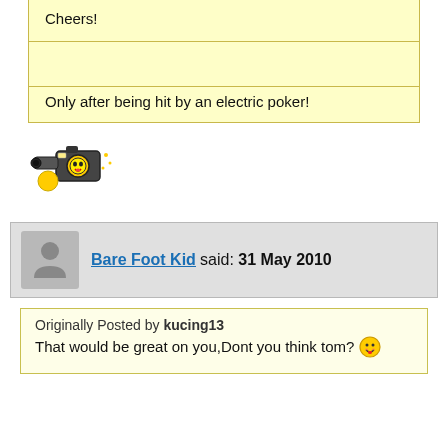Cheers!
Only after being hit by an electric poker!
[Figure (illustration): Animated emoji/smiley with camera or megaphone, yellow and black colors]
Bare Foot Kid said: 31 May 2010
Originally Posted by kucing13
That would be great on you,Dont you think tom?